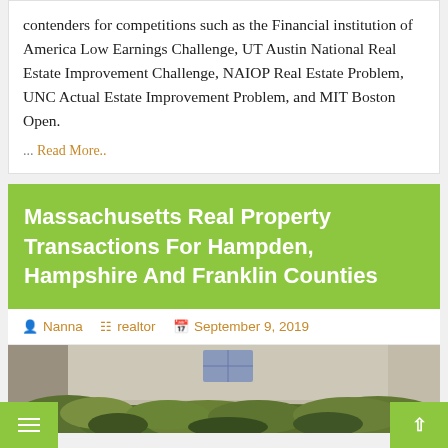contenders for competitions such as the Financial institution of America Low Earnings Challenge, UT Austin National Real Estate Improvement Challenge, NAIOP Real Estate Problem, UNC Actual Estate Improvement Problem, and MIT Boston Open.
... Read More..
Massachusetts Real Property Transactions For Hampden, Hampshire And Franklin Counties
Nanna  realtor  September 9, 2019
[Figure (photo): Exterior photo of a building with overgrown hedges and vegetation in the foreground]